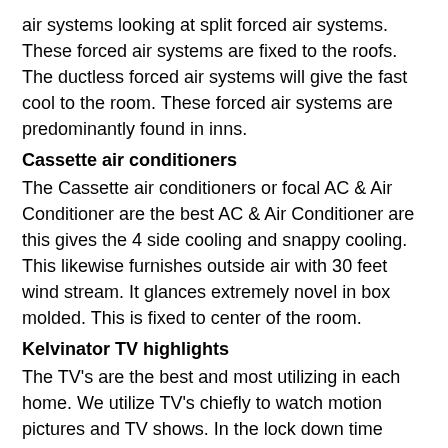air systems looking at split forced air systems. These forced air systems are fixed to the roofs. The ductless forced air systems will give the fast cool to the room. These forced air systems are predominantly found in inns.
Cassette air conditioners
The Cassette air conditioners or focal AC & Air Conditioner are the best AC & Air Conditioner are this gives the 4 side cooling and snappy cooling. This likewise furnishes outside air with 30 feet wind stream. It glances extremely novel in box molded. This is fixed to center of the room.
Kelvinator TV highlights
The TV's are the best and most utilizing in each home. We utilize TV's chiefly to watch motion pictures and TV shows. In the lock down time huge numbers of us dependent on the TV's. The TV's are assumes an uncommon part in keeping the residents by continuing remaining in home. The TV's are essentially two sorts they are LED and LCD. The three are full HD and 4K goals are there in costly and mid ran items. The full HD